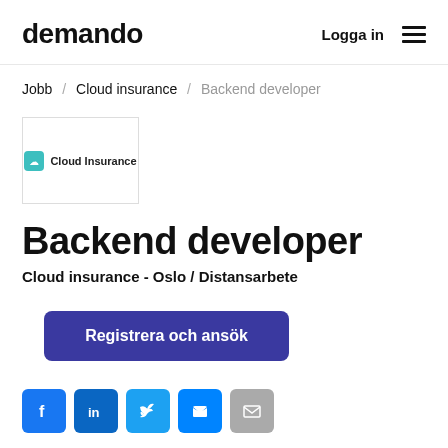demando   Logga in  ☰
Jobb / Cloud insurance / Backend developer
[Figure (logo): Cloud Insurance company logo in a bordered box]
Backend developer
Cloud insurance - Oslo / Distansarbete
Registrera och ansök
[Figure (infographic): Social share buttons: Facebook, LinkedIn, Twitter, Messenger, Email]